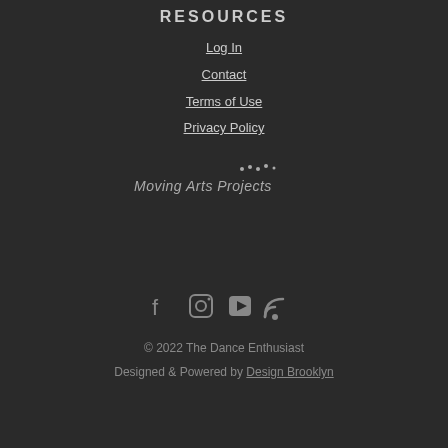RESOURCES
Log In
Contact
Terms of Use
Privacy Policy
[Figure (logo): Moving Arts Projects logo with dots]
[Figure (infographic): Social media icons: Facebook, Instagram, YouTube, RSS]
© 2022 The Dance Enthusiast
Designed & Powered by Design Brooklyn